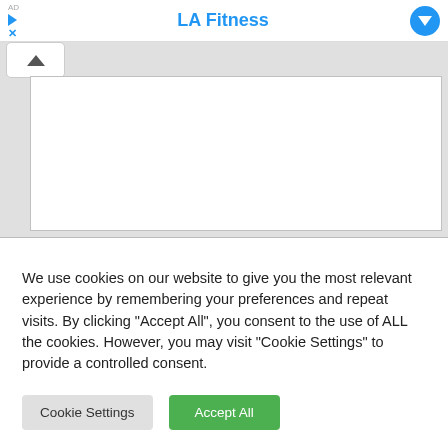LA Fitness
[Figure (screenshot): Ad content area with a white panel on grey background, collapse chevron button in top-left corner]
We use cookies on our website to give you the most relevant experience by remembering your preferences and repeat visits. By clicking "Accept All", you consent to the use of ALL the cookies. However, you may visit "Cookie Settings" to provide a controlled consent.
Cookie Settings | Accept All